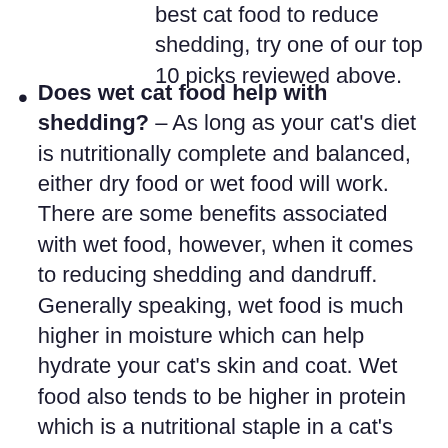best cat food to reduce shedding, try one of our top 10 picks reviewed above.
Does wet cat food help with shedding? – As long as your cat's diet is nutritionally complete and balanced, either dry food or wet food will work. There are some benefits associated with wet food, however, when it comes to reducing shedding and dandruff. Generally speaking, wet food is much higher in moisture which can help hydrate your cat's skin and coat. Wet food also tends to be higher in protein which is a nutritional staple in a cat's diet and a primary component of a